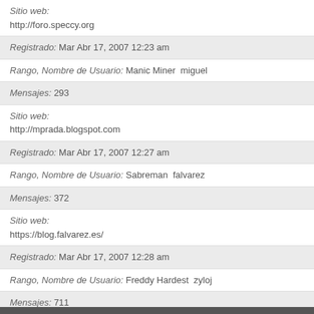Sitio web: http://foro.speccy.org
Registrado: Mar Abr 17, 2007 12:23 am
Rango, Nombre de Usuario: Manic Miner  miguel
Mensajes: 293
Sitio web: http://mprada.blogspot.com
Registrado: Mar Abr 17, 2007 12:27 am
Rango, Nombre de Usuario: Sabreman  falvarez
Mensajes: 372
Sitio web: https://blog.falvarez.es/
Registrado: Mar Abr 17, 2007 12:28 am
Rango, Nombre de Usuario: Freddy Hardest  zyloj
Mensajes: 711